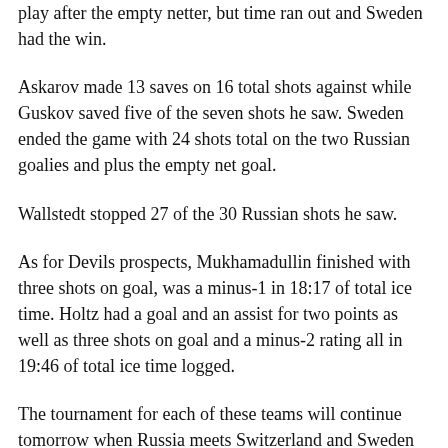play after the empty netter, but time ran out and Sweden had the win.
Askarov made 13 saves on 16 total shots against while Guskov saved five of the seven shots he saw. Sweden ended the game with 24 shots total on the two Russian goalies and plus the empty net goal.
Wallstedt stopped 27 of the 30 Russian shots he saw.
As for Devils prospects, Mukhamadullin finished with three shots on goal, was a minus-1 in 18:17 of total ice time. Holtz had a goal and an assist for two points as well as three shots on goal and a minus-2 rating all in 19:46 of total ice time logged.
The tournament for each of these teams will continue tomorrow when Russia meets Switzerland and Sweden will face Slovakia.